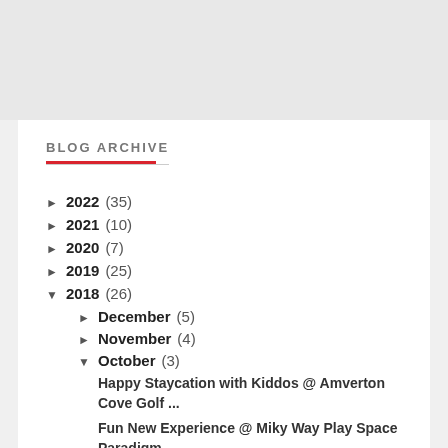BLOG ARCHIVE
► 2022 (35)
► 2021 (10)
► 2020 (7)
► 2019 (25)
▼ 2018 (26)
► December (5)
► November (4)
▼ October (3)
Happy Staycation with Kiddos @ Amverton Cove Golf ...
Fun New Experience @ Miky Way Play Space Paradigm ...
Yummy Moments of Fernleaf Milk with my Kiddos @ Fo...